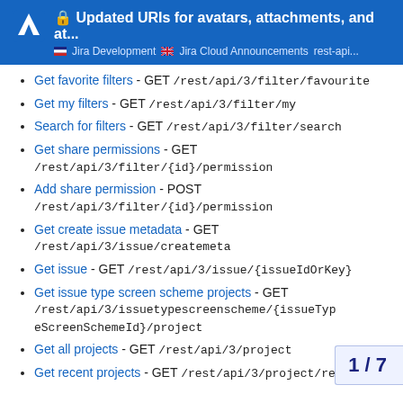🔒 Updated URIs for avatars, attachments, and at... | Jira Development | 🇫🇷 Jira Cloud Announcements | rest-api...
Get favorite filters - GET /rest/api/3/filter/favourite
Get my filters - GET /rest/api/3/filter/my
Search for filters - GET /rest/api/3/filter/search
Get share permissions - GET /rest/api/3/filter/{id}/permission
Add share permission - POST /rest/api/3/filter/{id}/permission
Get create issue metadata - GET /rest/api/3/issue/createmeta
Get issue - GET /rest/api/3/issue/{issueIdOrKey}
Get issue type screen scheme projects - GET /rest/api/3/issuetypescreenscheme/{issueTypeScreenSchemeId}/project
Get all projects - GET /rest/api/3/project
Get recent projects - GET /rest/api/3/project/recent